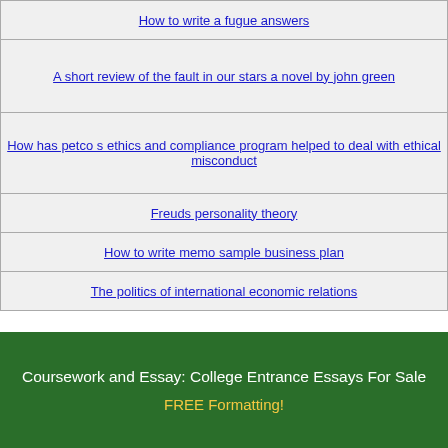How to write a fugue answers
A short review of the fault in our stars a novel by john green
How has petco s ethics and compliance program helped to deal with ethical misconduct
Freuds personality theory
How to write memo sample business plan
The politics of international economic relations
Coursework and Essay: College Entrance Essays For Sale FREE Formatting!